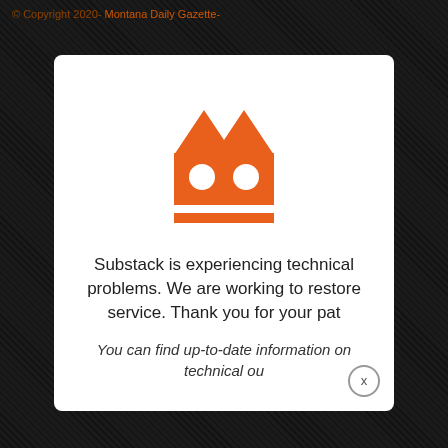© Copyright 2020- Montana Daily Gazette-
[Figure (logo): Substack orange robot/cat logo: stylized orange shape with triangular ears on top, a rectangular body with two white circular eyes, and two orange horizontal bars below]
Substack is experiencing technical problems. We are working to restore service. Thank you for your patience.
You can find up-to-date information on technical ou